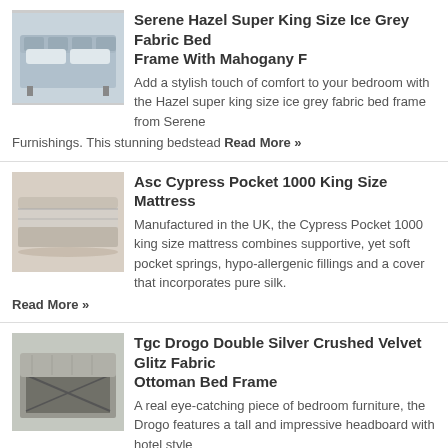[Figure (photo): Grey fabric bed frame product image]
Serene Hazel Super King Size Ice Grey Fabric Bed Frame With Mahogany F
Add a stylish touch of comfort to your bedroom with the Hazel super king size ice grey fabric bed frame from Serene Furnishings. This stunning bedstead Read More »
[Figure (photo): Mattress product image]
Asc Cypress Pocket 1000 King Size Mattress
Manufactured in the UK, the Cypress Pocket 1000 king size mattress combines supportive, yet soft pocket springs, hypo-allergenic fillings and a cover that incorporates pure silk. Read More »
[Figure (photo): Ottoman bed frame product image]
Tgc Drogo Double Silver Crushed Velvet Glitz Fabric Ottoman Bed Frame
A real eye-catching piece of bedroom furniture, the Drogo features a tall and impressive headboard with hotel style wings and a chic silver crushed velvet fabric. Read More »
[Figure (photo): Crushed velvet divan base product image]
Deluxe Crushed Velvet Double Divan Base
With a choice of contemporary crushed velvet fabrics, the